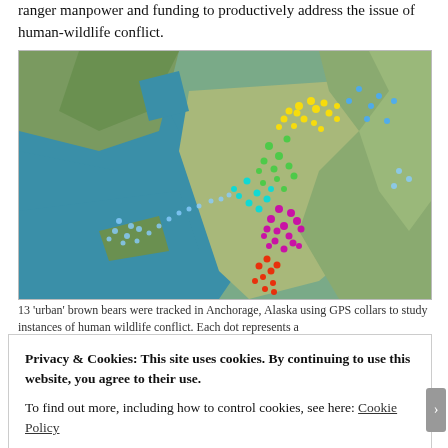ranger manpower and funding to productively address the issue of human-wildlife conflict.
[Figure (map): Satellite map of Anchorage, Alaska showing GPS collar tracking data for 13 urban brown bears. Colored dots (yellow, blue, green, cyan, magenta/pink, red) cluster along a peninsula and coastal/mountain areas, each dot representing a bear location fix.]
13 'urban' brown bears were tracked in Anchorage, Alaska using GPS collars to study instances of human wildlife conflict. Each dot represents a
Privacy & Cookies: This site uses cookies. By continuing to use this website, you agree to their use.
To find out more, including how to control cookies, see here: Cookie Policy